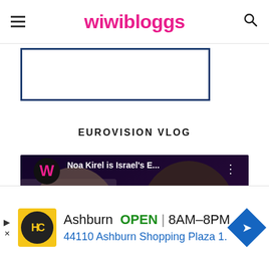wiwibloggs
[Figure (screenshot): Blue bordered rectangular box below navigation header]
EUROVISION VLOG
[Figure (screenshot): YouTube video thumbnail: 'Noa Kirel is Israel's E...' with wiwibloggs W logo, YouTube play button, text NOA KIREL REACTION on colorful background]
[Figure (screenshot): Advertisement bar: HC logo, Ashburn OPEN 8AM-8PM, 44110 Ashburn Shopping Plaza 1., navigation icon]